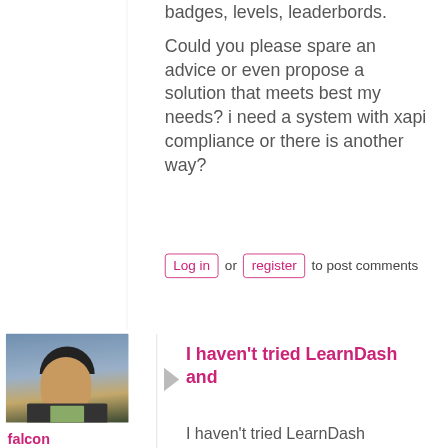badges, levels, leaderbords.
Could you please spare an advice or even propose a solution that meets best my needs? i need a system with xapi compliance or there is another way?
Log in or register to post comments
[Figure (photo): Profile photo of user 'falcon' — man facing camera outdoors]
falcon
Tue,
I haven't tried LearnDash and
I haven't tried LearnDash